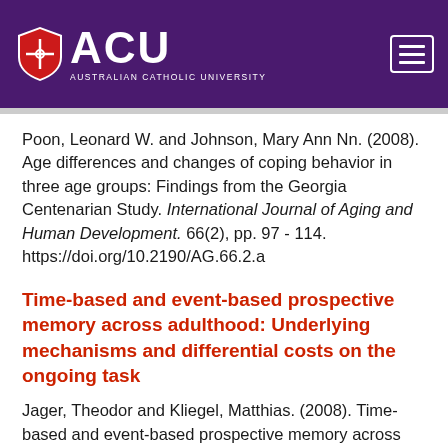[Figure (logo): Australian Catholic University (ACU) logo with shield emblem, white text on purple background, with hamburger menu icon on right]
Poon, Leonard W. and Johnson, Mary Ann Nn. (2008). Age differences and changes of coping behavior in three age groups: Findings from the Georgia Centenarian Study. International Journal of Aging and Human Development. 66(2), pp. 97 - 114. https://doi.org/10.2190/AG.66.2.a
Time-based and event-based prospective memory across adulthood: Underlying mechanisms and differential costs on the ongoing task
Jager, Theodor and Kliegel, Matthias. (2008). Time-based and event-based prospective memory across adulthood: Underlying mechanisms and differential costs on the ongoing task. Journal of General